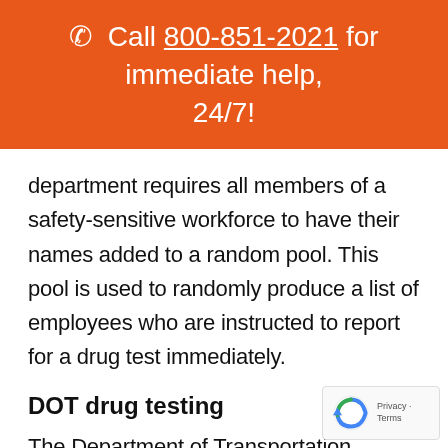☎ Call 800-851-2021 for immediate help, 24/7!
department requires all members of a safety-sensitive workforce to have their names added to a random pool. This pool is used to randomly produce a list of employees who are instructed to report for a drug test immediately.
DOT drug testing
The Department of Transportation